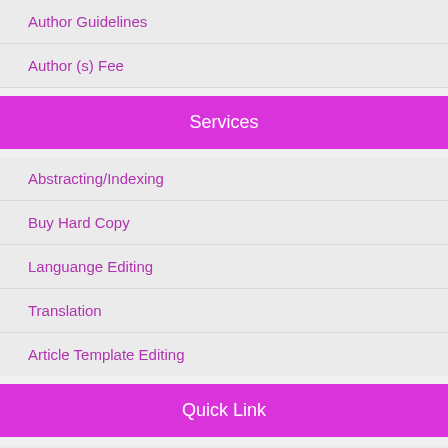Author Guidelines
Author (s) Fee
Services
Abstracting/Indexing
Buy Hard Copy
Languange Editing
Translation
Article Template Editing
Quick Link
Peer-Reviewers